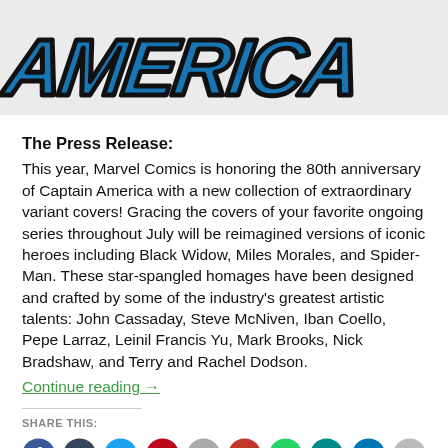[Figure (logo): Captain America stylized logo in blue with black outline, large italic bold text on light gray background]
The Press Release:
This year, Marvel Comics is honoring the 80th anniversary of Captain America with a new collection of extraordinary variant covers! Gracing the covers of your favorite ongoing series throughout July will be reimagined versions of iconic heroes including Black Widow, Miles Morales, and Spider-Man. These star-spangled homages have been designed and crafted by some of the industry's greatest artistic talents: John Cassaday, Steve McNiven, Iban Coello, Pepe Larraz, Leinil Francis Yu, Mark Brooks, Nick Bradshaw, and Terry and Rachel Dodson.
Continue reading →
SHARE THIS:
[Figure (other): Row of social media share icon circles: Facebook (blue), Tumblr (dark blue), Twitter (light blue), Pinterest (red), email/other (gray), message (red/pink), WhatsApp (green), another icon (teal), LinkedIn (blue), and one more (gray)]